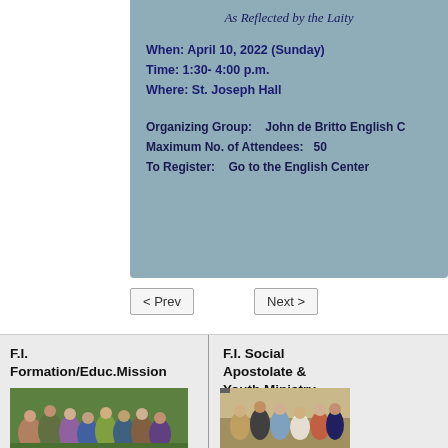As Reflected by the Laity
When: April 10, 2022 (Sunday)
Time: 1:30- 4:00 p.m.
Where: St. Joseph Hall
Organizing Group: John de Britto English C
Maximum No. of Attendees: 50
To Register: Go to the English Center
< Prev
Next >
F.I. Formation/Educ.Mission
F.I. Social Apostolate & Youth Ministry
[Figure (photo): Group photo of people outdoors on grass]
[Figure (photo): Photo of people gathered, possibly at a social event with a nun]